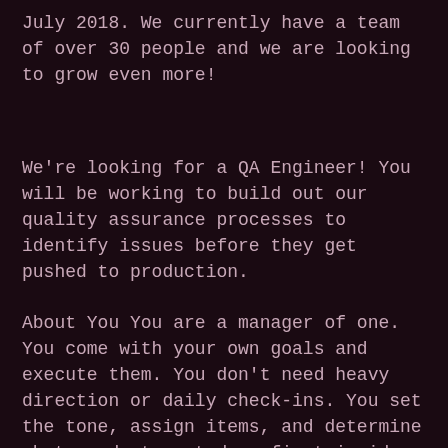July 2018. We currently have a team of over 30 people and we are looking to grow even more!
We're looking for a QA Engineer! You will be working to build out our quality assurance processes to identify issues before they get pushed to production.
About You You are a manager of one. You come with your own goals and execute them. You don't need heavy direction or daily check-ins. You set the tone, assign items, and determine what needs to get done first inside the project's scope.
Apply
[Figure (other): Heart icon (favorite/save button) on dark background next to pink Apply button]